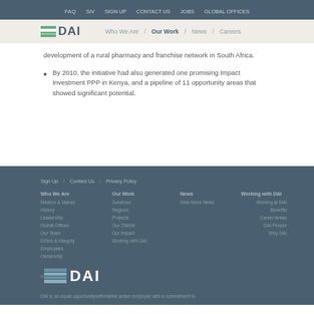FAQ  SIV  SIGN UP  CONTACT US  JOBS  GLOBAL OFFICES
DAI — Who We Are | Our Work | News | Careers
development of a rural pharmacy and franchise network in South Africa.
By 2010, the initiative had also generated one promising Impact Investment PPP in Kenya, and a pipeline of 11 opportunity areas that showed significant potential.
Sign Up / Contact Us / Privacy Policy
Who We Are: Mission & Values, History, Leadership, Global Offices, Our Team, Ethics & Integrity, Employees, Ownership | Our Work: Solutions, Regions, Projects, Our Clients, Our Impact, Working with DAI | News: View More News | Working with DAI: Working at DAI, Benefits, Career Areas, DAI People, Why DAI
® DAI — DAI is an equal opportunity/affirmative action employer with a commitment to